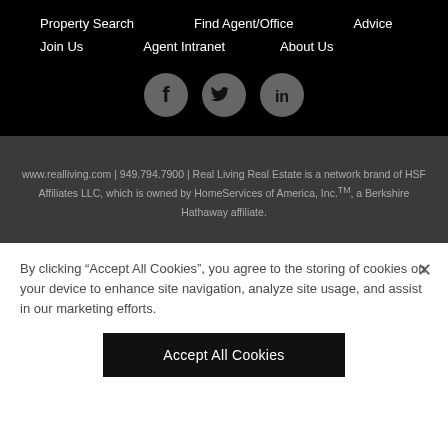Property Search | Find Agent/Office | Advice | Join Us | Agent Intranet | About Us
[Figure (illustration): Three social media icons in gray circles: Facebook (f), Twitter (bird), LinkedIn (in)]
www.realliving.com | 949.794.7900 | Real Living Real Estate is a network brand of HSF Affiliates LLC, which is owned by HomeServices of America, Inc.™, a Berkshire Hathaway affiliate.
By clicking "Accept All Cookies", you agree to the storing of cookies on your device to enhance site navigation, analyze site usage, and assist in our marketing efforts.
Accept All Cookies